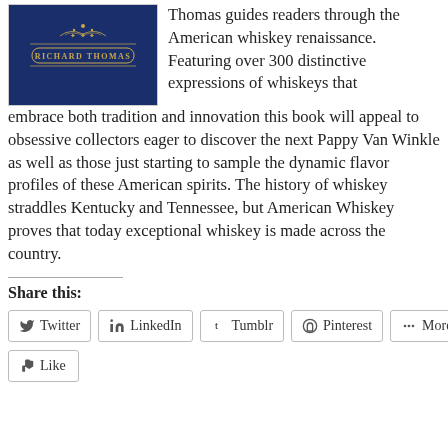[Figure (photo): Book cover with blue background and gold ornamental design showing 'RICHARD THOMAS' text]
Thomas guides readers through the American whiskey renaissance. Featuring over 300 distinctive expressions of whiskeys that embrace both tradition and innovation this book will appeal to obsessive collectors eager to discover the next Pappy Van Winkle as well as those just starting to sample the dynamic flavor profiles of these American spirits. The history of whiskey straddles Kentucky and Tennessee, but American Whiskey proves that today exceptional whiskey is made across the country.
Share this:
Twitter
LinkedIn
Tumblr
Pinterest
More